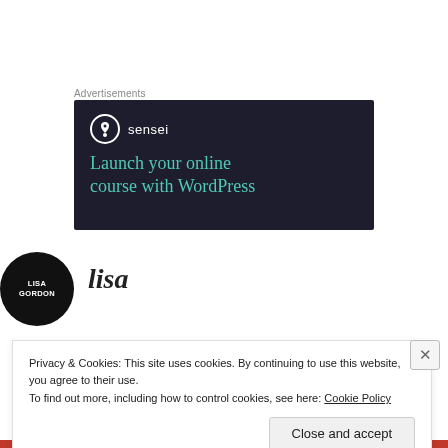Advertisements
[Figure (illustration): Sensei advertisement banner with dark navy background. Shows Sensei logo (tree icon in circle) with brand name 'sensei' and tagline 'Launch your online course with WordPress' in teal/turquoise text.]
[Figure (illustration): Circular black avatar with text 'LISA GORDON' in white, representing author profile photo.]
lisa
Privacy & Cookies: This site uses cookies. By continuing to use this website, you agree to their use.
To find out more, including how to control cookies, see here: Cookie Policy
Close and accept